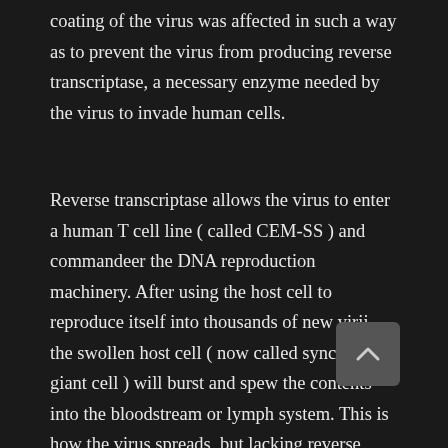coating of the virus was affected in such a way as to prevent the virus from producing reverse transcriptase, a necessary enzyme needed by the virus to invade human cells.
Reverse transcriptase allows the virus to enter a human T cell line ( called CEM-SS ) and commandeer the DNA reproduction machinery. After using the host cell to reproduce itself into thousands of new virii, the swollen host cell ( now called syncytia or giant cell ) will burst and spew the contents into the bloodstream or lymph system. This is how the virus spreads, but lacking reverse transcriptase, the virus can't invade the host